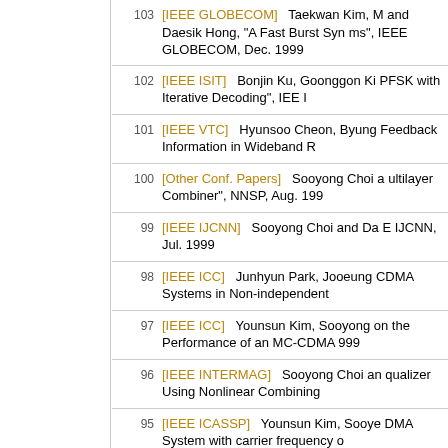103 [IEEE GLOBECOM] Taekwan Kim, ... and Daesik Hong, "A Fast Burst Synchronization for Burst Transmission Systems", IEEE GLOBECOM, Dec. 1999
102 [IEEE ISIT] Bonjin Ku, Goonggon Ki... PFSK with Iterative Decoding", IEE...
101 [IEEE VTC] Hyunsoo Cheon, Byung... Feedback Information in Wideband R...
100 [Other Conf. Papers] Sooyong Choi... ultilayer Combiner", NNSP, Aug. 199...
99 [IEEE IJCNN] Sooyong Choi and Da... E IJCNN, Jul. 1999
98 [IEEE ICC] Junhyun Park, Jooeung... CDMA Systems in Non-independent...
97 [IEEE ICC] Younsun Kim, Sooyong... on the Performance of an MC-CDMA... 999
96 [IEEE INTERMAG] Sooyong Choi a... qualizer Using Nonlinear Combining...
95 [IEEE ICASSP] Younsun Kim, Sooye... DMA System with carrier frequency o...
94 [IEEE ICASSP] Cheolwoo You and D... Using the Complex-Valued MultiLaye...